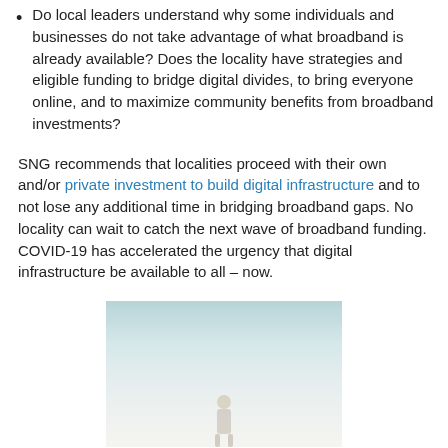Do local leaders understand why some individuals and businesses do not take advantage of what broadband is already available? Does the locality have strategies and eligible funding to bridge digital divides, to bring everyone online, and to maximize community benefits from broadband investments?
SNG recommends that localities proceed with their own and/or private investment to build digital infrastructure and to not lose any additional time in bridging broadband gaps. No locality can wait to catch the next wave of broadband funding. COVID-19 has accelerated the urgency that digital infrastructure be available to all – now.
[Figure (photo): A photograph showing a light blue sky background with a small figure visible at the bottom center, likely a person or small object at a distance.]